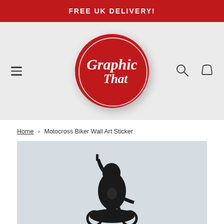FREE UK DELIVERY!
[Figure (logo): Graphic That logo — red circle with white italic text reading 'Graphic That']
Home › Motocross Biker Wall Art Sticker
[Figure (photo): Black silhouette of a motocross biker celebrating on a motorcycle against a light grey background, raising one hand]